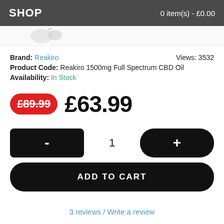SHOP | 0 item(s) - £0.00
Brand: Reakiro   Views: 3532
Product Code: Reakiro 1500mg Full Spectrum CBD Oil
Availability: In Stock
£89.99  £63.99
- 1 +
ADD TO CART
3 reviews / Write a review